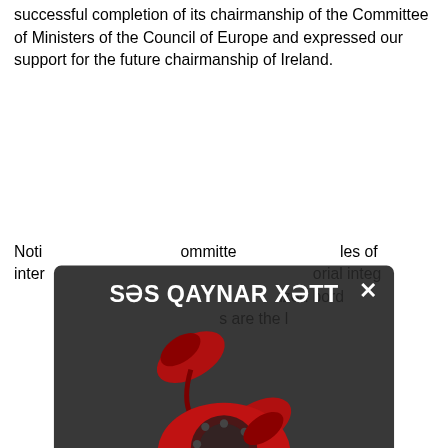successful completion of its chairmanship of the Committee of Ministers of the Council of Europe and expressed our support for the future chairmanship of Ireland.
Noting that Azerbaijan committed to the principles of international law, including respect for territorial integrity, sovereignty, and inviolability of recognized borders, as well as that the rights of Armenians are the highest priority,
[Figure (illustration): Modal/popup overlay showing a red vintage rotary telephone with dark semi-transparent background. Title reads 'SƏS QAYNAR XƏTT' (Hot Line). Contact information shown below the telephone image.]
SƏS QAYNAR XƏTT
(+994 50) 807 55 89
(012) 598 33 90
info@sia.az
The sides informed meeting about the region and discussed the relations between the two countries and joint efforts aimed at normalization of normalization process. The Minister has also mentioned that the meeting of leaders which was held with mediation and participation of the President of the European Council in Brussels on April 6, has positively affected the process. Minister has brought to